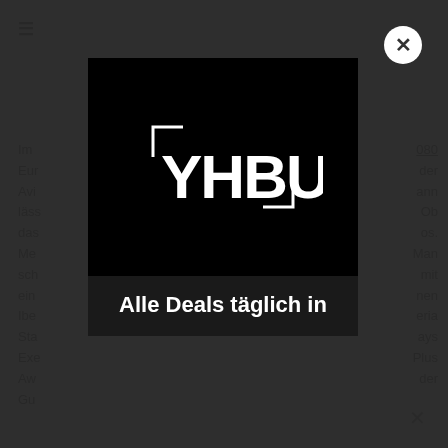[Figure (screenshot): A modal popup overlay on a website page. The background shows a grayed-out website with German text snippets. A dark modal dialog contains the YHBU logo (white bracket-framed letters on black background) and the text 'Alle Deals täglich in' in white bold text. A white circular close button with an X is in the top-right corner of the overlay.]
Alle Deals täglich in